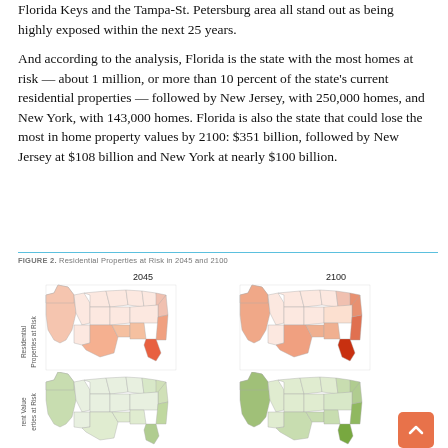Florida Keys and the Tampa-St. Petersburg area all stand out as being highly exposed within the next 25 years.
And according to the analysis, Florida is the state with the most homes at risk — about 1 million, or more than 10 percent of the state's current residential properties — followed by New Jersey, with 250,000 homes, and New York, with 143,000 homes. Florida is also the state that could lose the most in home property values by 2100: $351 billion, followed by New Jersey at $108 billion and New York at nearly $100 billion.
FIGURE 2. Residential Properties at Risk in 2045 and 2100
[Figure (map): Two US maps side by side showing Residential Properties at Risk for 2045 (left) and 2100 (right). States are shaded in salmon/orange tones with darker orange indicating higher risk. Coastal and southeastern states (especially Florida, Texas east coast) show higher risk. The 2100 map shows more states with darker shading than 2045.]
[Figure (map): Two US maps side by side showing Percent Value of Properties at Risk for 2045 (left) and 2100 (right). States are shaded in green tones. Partially visible at the bottom of the page.]